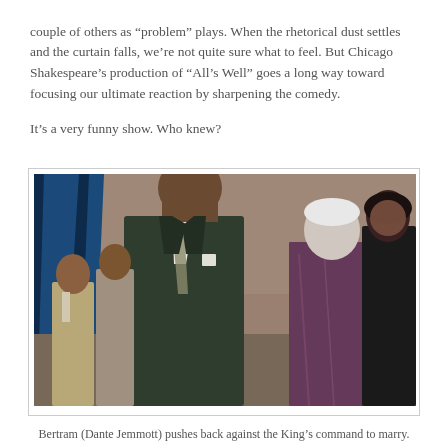couple of others as “problem” plays. When the rhetorical dust settles and the curtain falls, we’re not quite sure what to feel. But Chicago Shakespeare’s production of “All’s Well” goes a long way toward focusing our ultimate reaction by sharpening the comedy.

It’s a very funny show. Who knew?
[Figure (photo): Theatre production photo: A young Black man in a dark green suit with a patterned tie stands in the foreground looking serious. Behind him on stage are several other actors including an older white man in a patterned robe and a woman in dark clothing. Blue draping is visible on the left side of the stage.]
Bertram (Dante Jemmott) pushes back against the King’s command to marry.